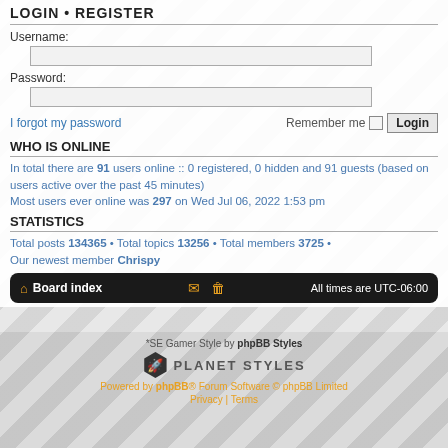LOGIN • REGISTER
Username:
Password:
I forgot my password    Remember me  Login
WHO IS ONLINE
In total there are 91 users online :: 0 registered, 0 hidden and 91 guests (based on users active over the past 45 minutes)
Most users ever online was 297 on Wed Jul 06, 2022 1:53 pm
STATISTICS
Total posts 134365 • Total topics 13256 • Total members 3725 • Our newest member Chrispy
🏠 Board index  ✉ 🗑  All times are UTC-06:00
*SE Gamer Style by phpBB Styles
PLANET STYLES
Powered by phpBB® Forum Software © phpBB Limited
Privacy | Terms